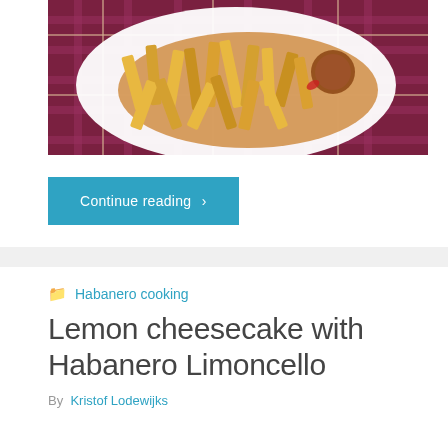[Figure (photo): A plate of golden French fries with sauce, placed on a dark red plaid cloth/tablecloth background]
Continue reading >
Habanero cooking
Lemon cheesecake with Habanero Limoncello
By  Kristof Lodewijks